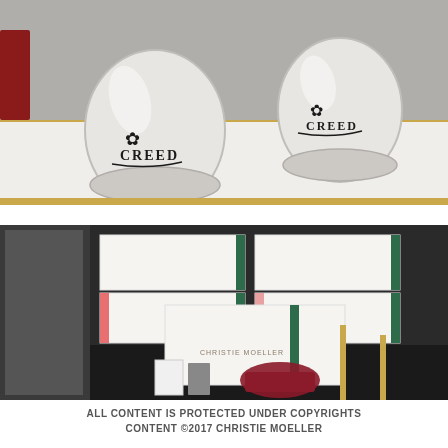[Figure (photo): Two white frosted glass CREED perfume bottles/candle holders with the CREED logo and crest emblem, displayed on a white reflective surface with gold trim visible in the background.]
[Figure (photo): White gift boxes with colorful (red/pink and green) ribbon stripes, stacked on a dark surface, with a small dark item (possibly a wallet or accessory) visible in the foreground, displayed in what appears to be a luxury retail setting.]
ALL CONTENT IS PROTECTED UNDER COPYRIGHTS CONTENT ©2017 CHRISTIE MOELLER